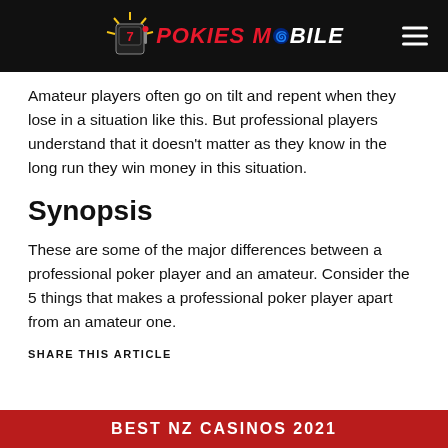POKIES MOBILE
Amateur players often go on tilt and repent when they lose in a situation like this. But professional players understand that it doesn't matter as they know in the long run they win money in this situation.
Synopsis
These are some of the major differences between a professional poker player and an amateur. Consider the 5 things that makes a professional poker player apart from an amateur one.
SHARE THIS ARTICLE
BEST NZ CASINOS 2021